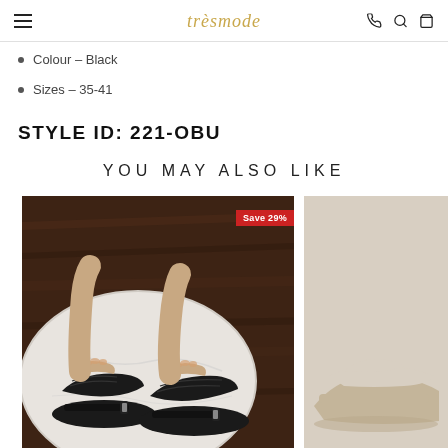trèsmode — navigation bar with hamburger menu, logo, phone, search, and cart icons
Colour – Black
Sizes – 35-41
STYLE ID: 221-OBU
YOU MAY ALSO LIKE
[Figure (photo): Black woven-strap flat sandals with ankle buckle on a white round surface, brown wooden background. Red badge reading 'Save 29%' in top-right corner.]
[Figure (photo): Partial view of a beige/taupe wedge sandal on the right edge of the page.]